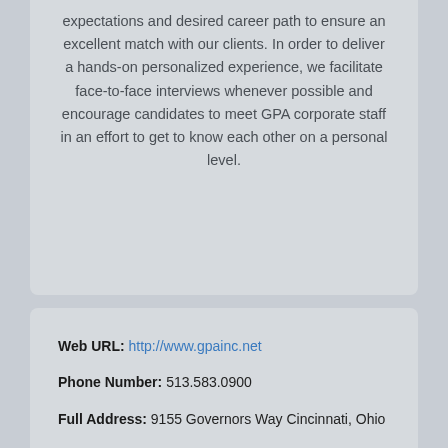expectations and desired career path to ensure an excellent match with our clients. In order to deliver a hands-on personalized experience, we facilitate face-to-face interviews whenever possible and encourage candidates to meet GPA corporate staff in an effort to get to know each other on a personal level.
Web URL: http://www.gpainc.net
Phone Number: 513.583.0900
Full Address: 9155 Governors Way Cincinnati, Ohio 45249